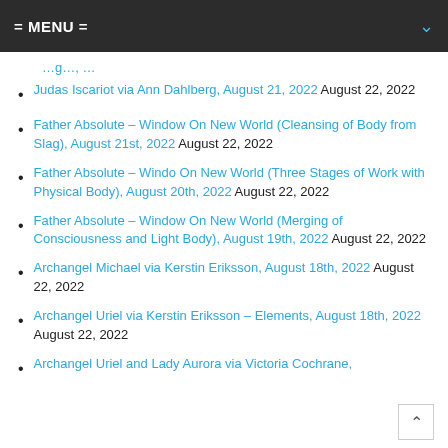= MENU =
Judas Iscariot via Ann Dahlberg, August 21, 2022 August 22, 2022
Father Absolute – Window On New World (Cleansing of Body from Slag), August 21st, 2022 August 22, 2022
Father Absolute – Windo On New World (Three Stages of Work with Physical Body), August 20th, 2022 August 22, 2022
Father Absolute – Window On New World (Merging of Consciousness and Light Body), August 19th, 2022 August 22, 2022
Archangel Michael via Kerstin Eriksson, August 18th, 2022 August 22, 2022
Archangel Uriel via Kerstin Eriksson – Elements, August 18th, 2022 August 22, 2022
Archangel Uriel and Lady Aurora via Victoria Cochrane,